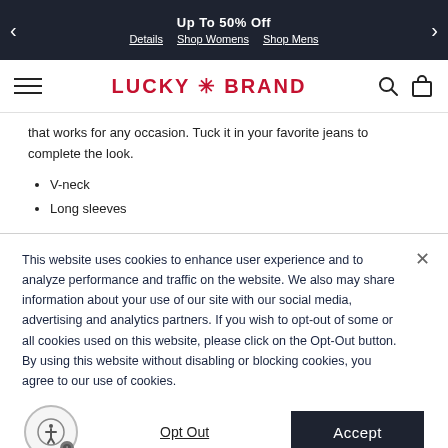Up To 50% Off   Details   Shop Womens   Shop Mens
[Figure (logo): Lucky Brand logo with red text and asterisk]
that works for any occasion. Tuck it in your favorite jeans to complete the look.
V-neck
Long sleeves
This website uses cookies to enhance user experience and to analyze performance and traffic on the website. We also may share information about your use of our site with our social media, advertising and analytics partners. If you wish to opt-out of some or all cookies used on this website, please click on the Opt-Out button. By using this website without disabling or blocking cookies, you agree to our use of cookies.